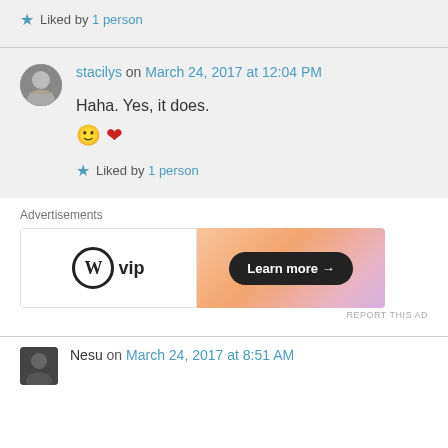★ Liked by 1 person
stacilys on March 24, 2017 at 12:04 PM
Haha. Yes, it does. 🙂 ❤
★ Liked by 1 person
Advertisements
[Figure (other): WordPress VIP advertisement banner with Learn more button]
REPORT THIS AD
Nesu on March 24, 2017 at 8:51 AM